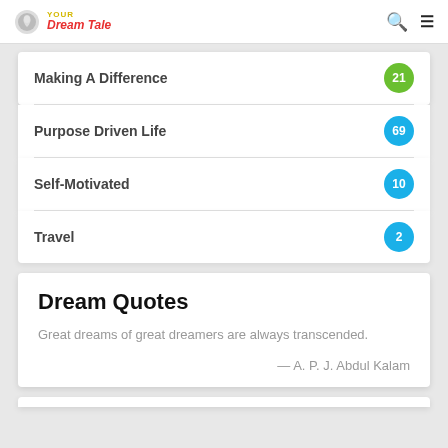YOUR Dream Tale
Making A Difference — 21
Purpose Driven Life — 69
Self-Motivated — 10
Travel — 2
Dream Quotes
Great dreams of great dreamers are always transcended.
— A. P. J. Abdul Kalam